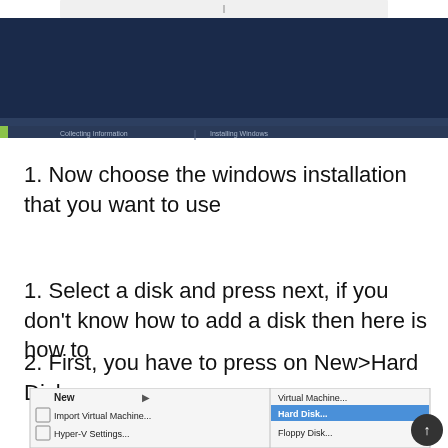[Figure (screenshot): Windows installation setup screen with a progress bar at the bottom showing 'Collecting information' and 'Installing Windows' steps. The main area is dark navy/black.]
1. Now choose the windows installation that you want to use
1. Select a disk and press next, if you don't know how to add a disk then here is how to
2. First, you have to press on New>Hard Disk
[Figure (screenshot): Context menu screenshot showing 'New' option with submenu containing 'Virtual Machine...', 'Hard Disk...' (highlighted in blue), and 'Floppy Disk...' options. Also shows 'Import Virtual Machine...' and 'Hyper-V Settings...' in the main menu. A circular upload button is visible in the bottom right corner.]